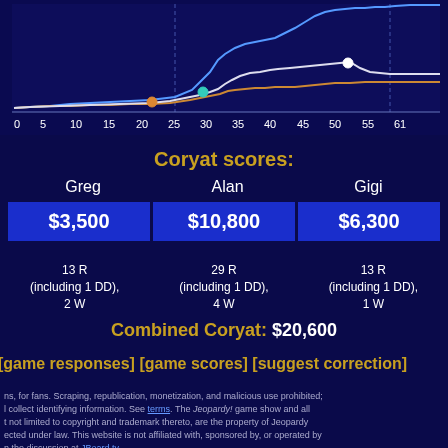[Figure (line-chart): Game score progression]
Coryat scores:
| Greg | Alan | Gigi |
| --- | --- | --- |
| $3,500 | $10,800 | $6,300 |
| 13 R (including 1 DD), 2 W | 29 R (including 1 DD), 4 W | 13 R (including 1 DD), 1 W |
Combined Coryat: $20,600
[game responses] [game scores] [suggest correction]
ns, for fans. Scraping, republication, monetization, and malicious use prohibited; l collect identifying information. See terms. The Jeopardy! game show and all t not limited to copyright and trademark thereto, are the property of Jeopardy ected under law. This website is not affiliated with, sponsored by, or operated by n the discussion at JBoard.tv.